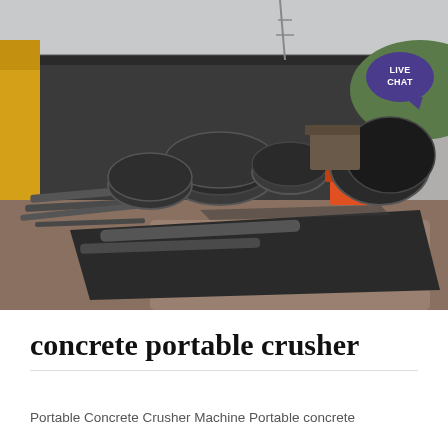[Figure (photo): Outdoor industrial construction site with scattered metal pipes, large circular metal rings/cylinders, steel plates on the ground, and a dark building/warehouse in the background. A yellow construction machine is partially visible on the left edge. A 'LIVE CHAT' speech bubble icon appears in the upper right of the image.]
concrete portable crusher
Portable Concrete Crusher Machine Portable concrete